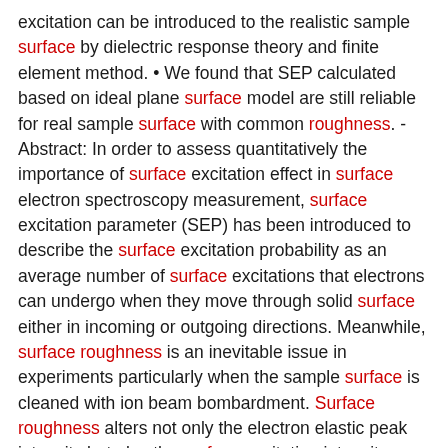excitation can be introduced to the realistic sample surface by dielectric response theory and finite element method. • We found that SEP calculated based on ideal plane surface model are still reliable for real sample surface with common roughness. - Abstract: In order to assess quantitatively the importance of surface excitation effect in surface electron spectroscopy measurement, surface excitation parameter (SEP) has been introduced to describe the surface excitation probability as an average number of surface excitations that electrons can undergo when they move through solid surface either in incoming or outgoing directions. Meanwhile, surface roughness is an inevitable issue in experiments particularly when the sample surface is cleaned with ion beam bombardment. Surface roughness alters not only the electron elastic peak intensity but also the surface excitation intensity. However, almost all of the popular theoretical models for determining SEP are based on ideal plane surface approximation. In order to figure out whether this approximation is efficient or not for SEP calculation and the scope of this assumption, we proposed a new way to determine the SEP for a rough surface by a Monte Carlo simulation of electron scattering process near to a realistic rough surface, which is modeled by finite element analysis at the boundary of EM